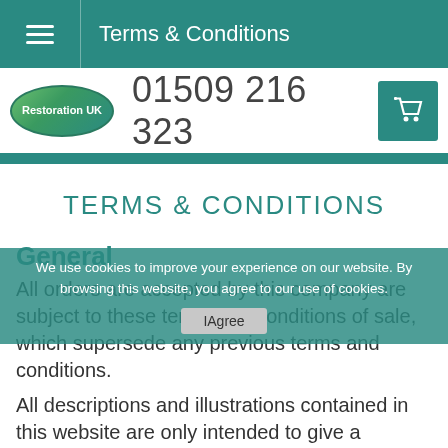Terms & Conditions
[Figure (logo): Restoration UK oval logo with phone number 01509 216 323 and shopping cart icon]
TERMS & CONDITIONS
General
All orders are accepted by this company are subject to these terms and conditions of sale, which supersede any previous terms and conditions.
All descriptions and illustrations contained in this website are only intended to give a general idea of the products, specifications may vary slightly.
We use cookies to improve your experience on our website. By browsing this website, you agree to our use of cookies.